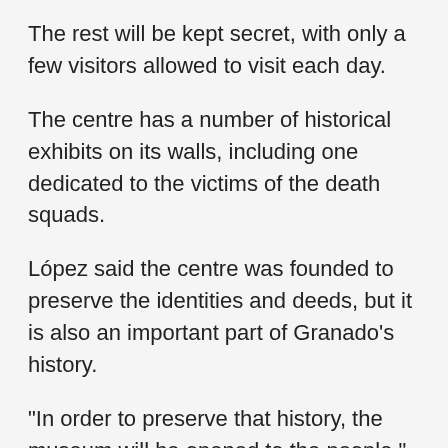The rest will be kept secret, with only a few visitors allowed to visit each day.
The centre has a number of historical exhibits on its walls, including one dedicated to the victims of the death squads.
López said the centre was founded to preserve the identities and deeds, but it is also an important part of Granado's history.
“In order to preserve that history, the museum will be opened to the people,” he added.
“This will be a place to be able to go and see things that were not known before.”